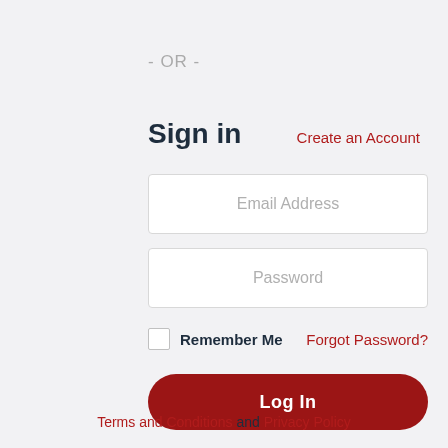- OR -
Sign in
Create an Account
Email Address
Password
Remember Me
Forgot Password?
Log In
Terms and Conditions and Privacy Policy